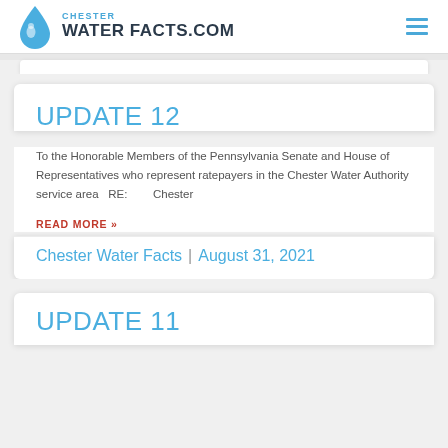CHESTER WATER FACTS.COM
UPDATE 12
To the Honorable Members of the Pennsylvania Senate and House of Representatives who represent ratepayers in the Chester Water Authority service area   RE:        Chester
READ MORE »
Chester Water Facts  |  August 31, 2021
UPDATE 11